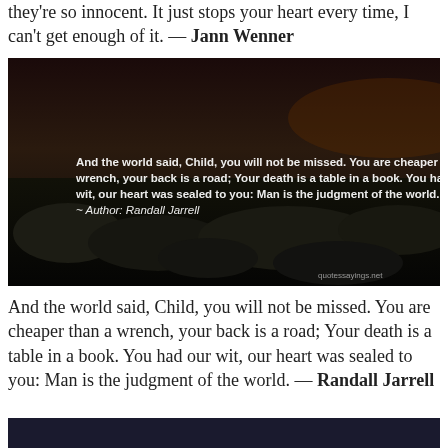they're so innocent. It just stops your heart every time, I can't get enough of it. — Jann Wenner
[Figure (photo): Dark rocky landscape at dusk with overlaid quote text: 'And the world said, Child, you will not be missed. You are cheaper than a wrench, your back is a road; Your death is a table in a book. You had our wit, our heart was sealed to you: Man is the judgment of the world. ~ Author: Randall Jarrell'. Watermark: quotessayings.net]
And the world said, Child, you will not be missed. You are cheaper than a wrench, your back is a road; Your death is a table in a book. You had our wit, our heart was sealed to you: Man is the judgment of the world. — Randall Jarrell